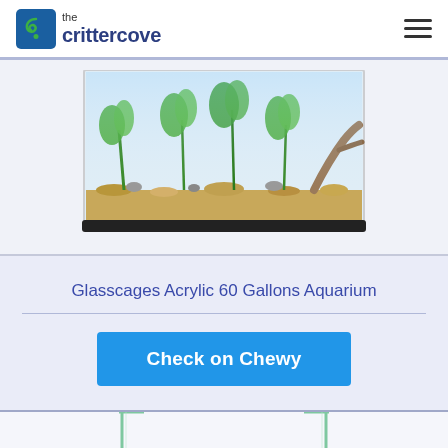the crittercove
[Figure (photo): Glasscages Acrylic 60 Gallons Aquarium filled with sand, rocks, and green aquatic plants — partial view showing bottom half of the tank]
Glasscages Acrylic 60 Gallons Aquarium
Check on Chewy
[Figure (photo): Clear rectangular glass aquarium tank — empty, shown from a slightly elevated front angle, partial view of top portion]